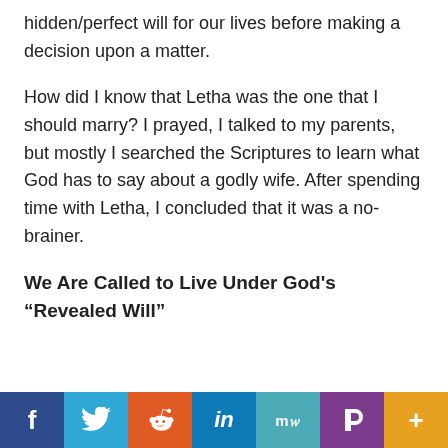hidden/perfect will for our lives before making a decision upon a matter.
How did I know that Letha was the one that I should marry? I prayed, I talked to my parents, but mostly I searched the Scriptures to learn what God has to say about a godly wife. After spending time with Letha, I concluded that it was a no-brainer.
We Are Called to Live Under God's “Revealed Will”
[Figure (other): Social media sharing bar with buttons for Facebook, Twitter, Reddit, LinkedIn, MeWe, Parler, and a plus/more button]